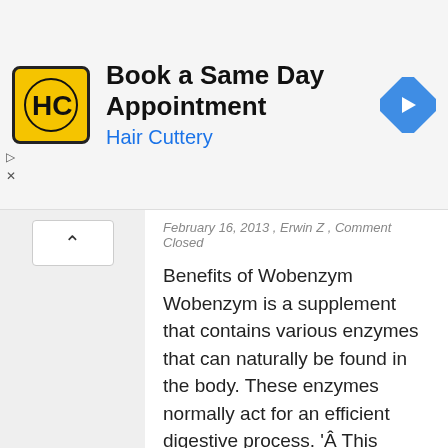[Figure (illustration): Hair Cuttery ad banner with logo (HC in yellow circle), text 'Book a Same Day Appointment / Hair Cuttery', and a blue diamond navigation arrow icon]
February 16, 2013 , Erwin Z , Comment Closed
Benefits of Wobenzym Wobenzym is a supplement that contains various enzymes that can naturally be found in the body. These enzymes normally act for an efficient digestive process. 'Â This particular supplement is also loaded with&hellip
Read Post →
Benefits of HSA insurance
December 22, 2012 , Erwin Z , Comment Closed